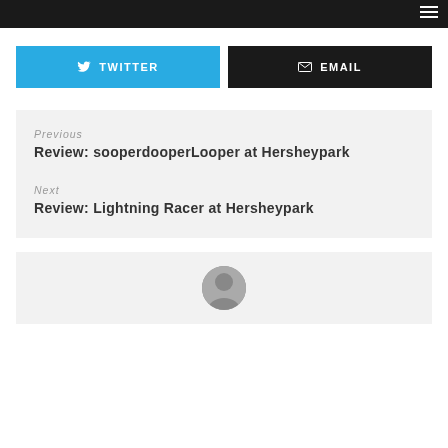TWITTER
EMAIL
Previous
Review: sooperdooperLooper at Hersheypark
Next
Review: Lightning Racer at Hersheypark
[Figure (photo): Author photo, partial view of a person's head]